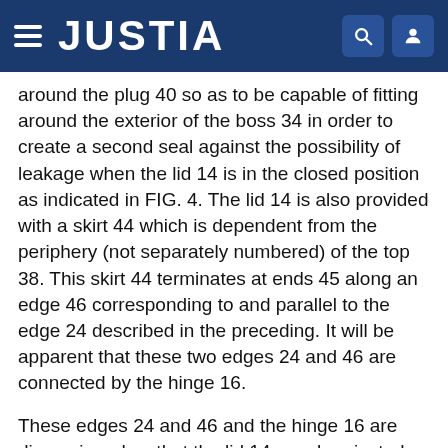JUSTIA
around the plug 40 so as to be capable of fitting around the exterior of the boss 34 in order to create a second seal against the possibility of leakage when the lid 14 is in the closed position as indicated in FIG. 4. The lid 14 is also provided with a skirt 44 which is dependent from the periphery (not separately numbered) of the top 38. This skirt 44 terminates at ends 45 along an edge 46 corresponding to and parallel to the edge 24 described in the preceding. It will be apparent that these two edges 24 and 46 are connected by the hinge 16.
These edges 24 and 46 and the hinge 16 are dimensioned so that the lid 14 may be pivoted substantially about an axis (not shown) from a position as indicated in FIGS. 1 and 2 extending outwardly from the cap 12 in which it is formed by an injection molding operation to a closed position as indicated in FIG. 4. In